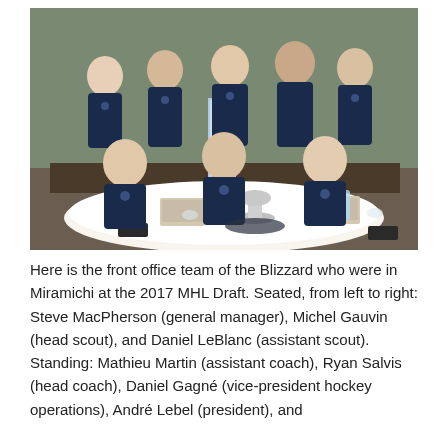[Figure (photo): Group photo of the Blizzard front office team seated and standing around a round table at the 2017 MHL Draft in Miramichi. All wearing navy polo shirts. A tall trophy/display box and a silver trophy are on the table along with laptops and water bottles.]
Here is the front office team of the Blizzard who were in Miramichi at the 2017 MHL Draft. Seated, from left to right: Steve MacPherson (general manager), Michel Gauvin (head scout), and Daniel LeBlanc (assistant scout). Standing: Mathieu Martin (assistant coach), Ryan Salvis (head coach), Daniel Gagné (vice-president hockey operations), André Lebel (president), and